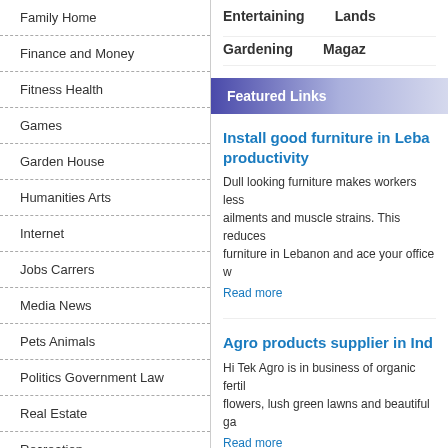Family Home
Finance and Money
Fitness Health
Games
Garden House
Humanities Arts
Internet
Jobs Carrers
Media News
Pets Animals
Politics Government Law
Real Estate
Recreation
Reference
Entertaining   Lands
Gardening   Magaz
Featured Links
Install good furniture in Leba productivity
Dull looking furniture makes workers less ailments and muscle strains. This reduces furniture in Lebanon and ace your office w
Read more
Agro products supplier in Ind
Hi Tek Agro is in business of organic fertil flowers, lush green lawns and beautiful ga
Read more
Ferro - Simero Ceramics; Gla tiles in Morbi, India
simero provides you the diiferent type of t Glorb it if d til  ith hi h l